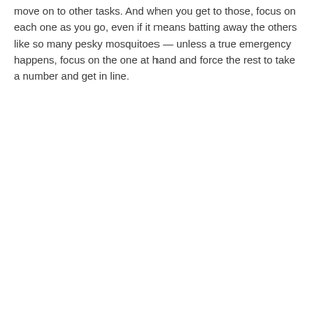move on to other tasks. And when you get to those, focus on each one as you go, even if it means batting away the others like so many pesky mosquitoes — unless a true emergency happens, focus on the one at hand and force the rest to take a number and get in line.